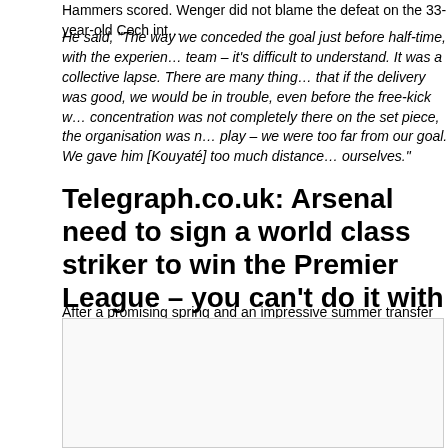Hammers scored. Wenger did not blame the defeat on the 33-year-old Cech int…
He said, "The way we conceded the goal just before half-time, with the experience of the team – it's difficult to understand. It was a collective lapse. There are many things… that if the delivery was good, we would be in trouble, even before the free-kick w… concentration was not completely there on the set piece, the organisation was n… play – we were too far from our goal. We gave him [Kouyaté] too much distance… ourselves."
Telegraph.co.uk: Arsenal need to sign a world class striker to win the Premier League – you can't do it with Olivier Giroud
After a promising spring and an impressive summer transfer window, Arsenal looked like contenders, according to fans, pundits and experts of gambling facts. Yet they suffered a defeat, as Arsenal v West Ham ended 0-2 on Sunday. This doesn't change the outlook, but pointed out that Arsene Wenger need to invest in a world class striker to cha…
[Figure (other): Placeholder image box with border]